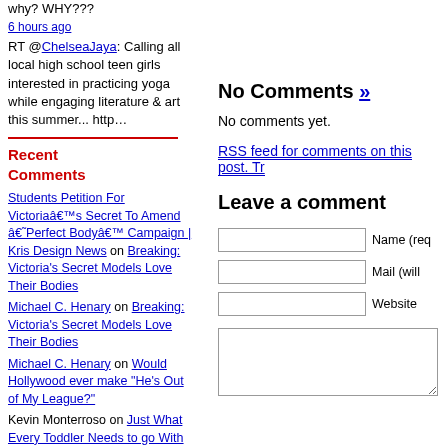why? WHY???
6 hours ago
RT @ChelseaJaya: Calling all local high school teen girls interested in practicing yoga while engaging literature & art this summer... http…
Recent Comments
Students Petition For Victoriaâ€™s Secret To Amend â€˜Perfect Bodyâ€™ Campaign | Kris Design News on Breaking: Victoria's Secret Models Love Their Bodies
Michael C. Henary on Breaking: Victoria's Secret Models Love Their Bodies
Michael C. Henary on Would Hollywood ever make "He's Out of My League?"
Kevin Monterroso on Just What Every Toddler Needs to go With Those Heels: Skinny Jeans!
adrianna heads on What's lurking in your
No Comments »
No comments yet.
RSS feed for comments on this post. Tr
Leave a comment
Name (req
Mail (will
Website